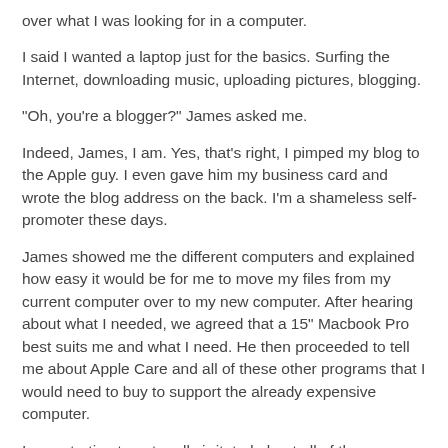over what I was looking for in a computer.
I said I wanted a laptop just for the basics. Surfing the Internet, downloading music, uploading pictures, blogging.
"Oh, you're a blogger?" James asked me.
Indeed, James, I am. Yes, that's right, I pimped my blog to the Apple guy. I even gave him my business card and wrote the blog address on the back. I'm a shameless self-promoter these days.
James showed me the different computers and explained how easy it would be for me to move my files from my current computer over to my new computer. After hearing about what I needed, we agreed that a 15" Macbook Pro best suits me and what I need. He then proceeded to tell me about Apple Care and all of these other programs that I would need to buy to support the already expensive computer.
I was starting to get really irritated about all of these additional costs when James said the sweetest words I've